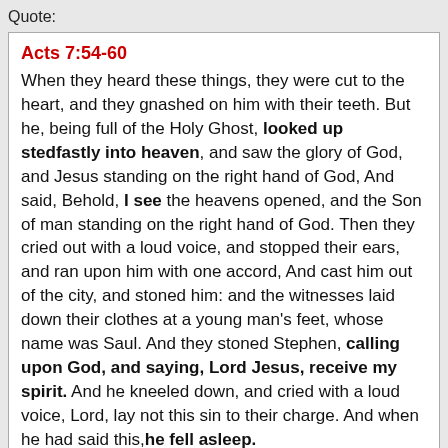Quote:
Acts 7:54-60
When they heard these things, they were cut to the heart, and they gnashed on him with their teeth. But he, being full of the Holy Ghost, looked up stedfastly into heaven, and saw the glory of God, and Jesus standing on the right hand of God, And said, Behold, I see the heavens opened, and the Son of man standing on the right hand of God. Then they cried out with a loud voice, and stopped their ears, and ran upon him with one accord, And cast him out of the city, and stoned him: and the witnesses laid down their clothes at a young man's feet, whose name was Saul. And they stoned Stephen, calling upon God, and saying, Lord Jesus, receive my spirit. And he kneeled down, and cried with a loud voice, Lord, lay not this sin to their charge. And when he had said this, he fell asleep.
When we read that passage in the correct context do we believe that Stephen just simply fell asleep and went to the grave? NO of course we don't, we believe what the scripture tells us, that Stephen looked up and saw the